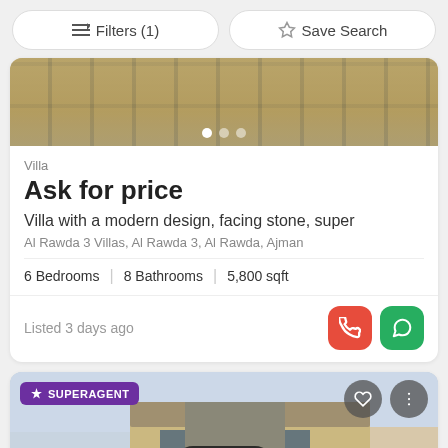Filters (1)  Save Search
[Figure (photo): Top portion of a property listing image showing stone/tile flooring with pagination dots]
Villa
Ask for price
Villa with a modern design, facing stone, super
Al Rawda 3 Villas, Al Rawda 3, Al Rawda, Ajman
6 Bedrooms  |  8 Bathrooms  |  5,800 sqft
Listed 3 days ago
[Figure (photo): Second property listing showing a modern building exterior with SUPERAGENT badge, heart and options icons, and Map button overlay]